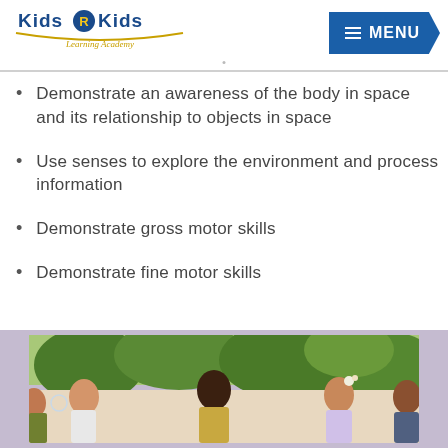Kids R Kids Learning Academy — MENU
Demonstrate an awareness of the body in space and its relationship to objects in space
Use senses to explore the environment and process information
Demonstrate gross motor skills
Demonstrate fine motor skills
[Figure (photo): Children playing outdoors, smiling, with green trees in the background. One child blows bubbles. Children appear diverse in ethnicity. One child has a flower in her hair.]